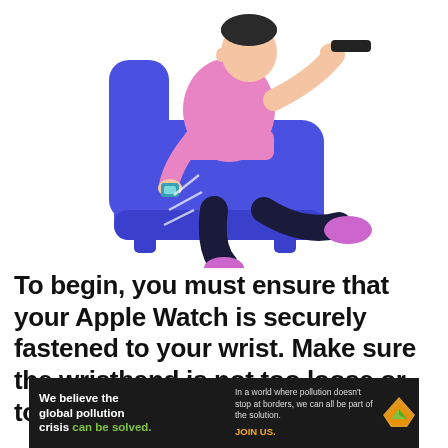[Figure (illustration): Illustration of a person in a pink shirt and dark pants sitting in a large blue armchair, holding a TV remote. The person wears a teal smartwatch on their wrist and pink/purple shoes. White accent lines on the armchair indicate sitting pressure.]
To begin, you must ensure that your Apple Watch is securely fastened to your wrist. Make sure the wristband is not too loose or too tight. You should
[Figure (infographic): Advertisement banner for Pure Earth. Dark background. Left: bold white text reading 'We believe the global pollution crisis can be solved.' with 'can be solved.' in green. Center: smaller grey text reading 'In a world where pollution doesn't stop at borders, we can all be part of the solution.' followed by 'JOIN US.' in orange. Right: Pure Earth logo with diamond/triangle shape icon and white bold text 'PURE EARTH'.]